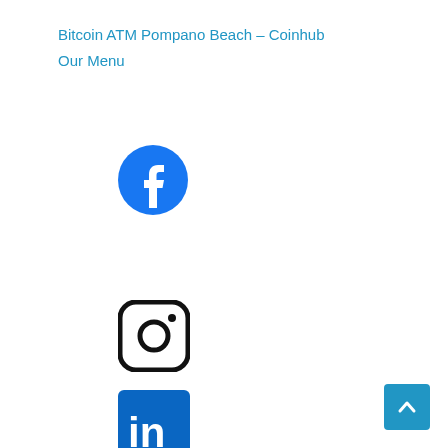Bitcoin ATM Pompano Beach – Coinhub
Our Menu
[Figure (logo): Facebook logo — blue circle with white 'f' icon]
[Figure (logo): Instagram logo — black rounded square with camera/circle icon]
[Figure (logo): LinkedIn logo — blue rounded square with white 'in' text]